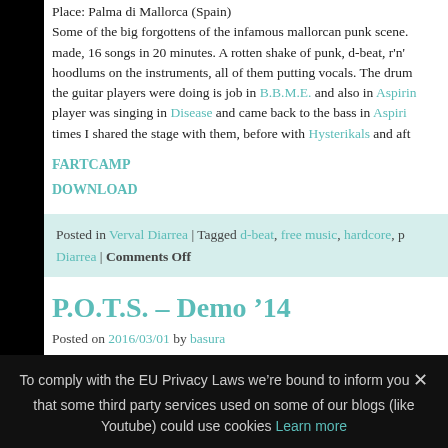Place: Palma di Mallorca (Spain) Some of the big forgottens of the infamous mallorcan punk scene. made, 16 songs in 20 minutes. A rotten shake of punk, d-beat, r'n' hoodlums on the instruments, all of them putting vocals. The drum the guitar players were doing is job in B.B.M.E. and also in Aspiri player was singing in Disease and came back to the bass in Aspiri times I shared the stage with them, before with Hysterikals and aft
FARTCAMP
DOWNLOAD
Posted in Verval Diarrea | Tagged d-beat, free music, hardcore, p Diarrea | Comments Off
P.O.T.S. – Demo '14
Posted on 2016/03/01 by basura
To comply with the EU Privacy Laws we're bound to inform you that some third party services used on some of our blogs (like Youtube) could use cookies Learn more ✕